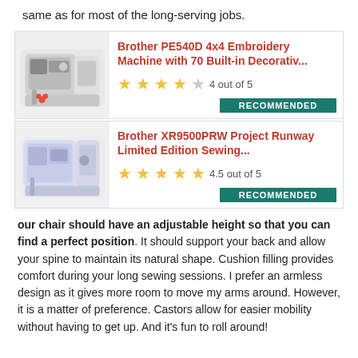same as for most of the long-serving jobs.
[Figure (screenshot): Product card for Brother PE540D 4x4 Embroidery Machine with 70 Built-in Decorativ... showing 4 out of 5 stars and RECOMMENDED badge, with product image on the left.]
[Figure (screenshot): Product card for Brother XR9500PRW Project Runway Limited Edition Sewing... showing 4.5 out of 5 stars and RECOMMENDED badge, with product image on the left.]
our chair should have an adjustable height so that you can find a perfect position. It should support your back and allow your spine to maintain its natural shape. Cushion filling provides comfort during your long sewing sessions. I prefer an armless design as it gives more room to move my arms around. However, it is a matter of preference. Castors allow for easier mobility without having to get up. And it's fun to roll around!